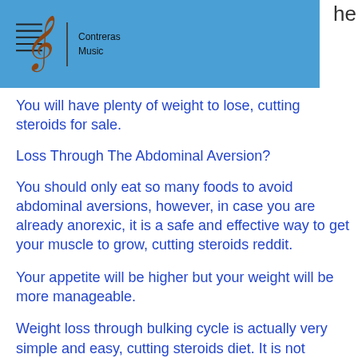[Figure (logo): Contreras Music logo with treble clef icon and text 'Contreras Music' on a blue header bar]
he
You will have plenty of weight to lose, cutting steroids for sale.
Loss Through The Abdominal Aversion?
You should only eat so many foods to avoid abdominal aversions, however, in case you are already anorexic, it is a safe and effective way to get your muscle to grow, cutting steroids reddit.
Your appetite will be higher but your weight will be more manageable.
Weight loss through bulking cycle is actually very simple and easy, cutting steroids diet. It is not necessary for you to train or eat to get lean, cutting steroid cycle reddit.